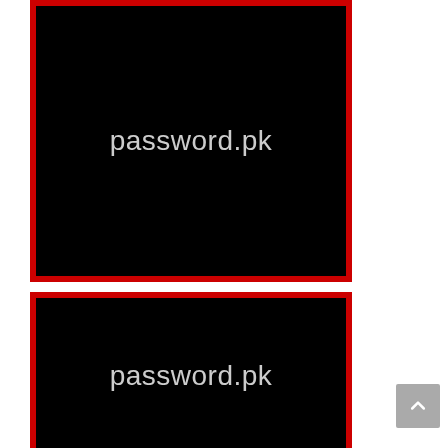[Figure (logo): Black square with red border showing 'password.pk' text in light gray, top image]
[Figure (logo): Black square with red border showing 'password.pk' text in light gray, bottom image (partially visible)]
[Figure (other): Gray scroll-to-top button with upward chevron arrow]